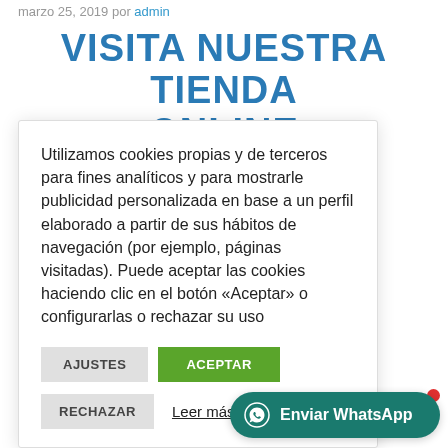marzo 25, 2019 por admin
VISITA NUESTRA TIENDA ONLINE
Utilizamos cookies propias y de terceros para fines analíticos y para mostrarle publicidad personalizada en base a un perfil elaborado a partir de sus hábitos de navegación (por ejemplo, páginas visitadas). Puede aceptar las cookies haciendo clic en el botón «Aceptar» o configurarlas o rechazar su uso
AJUSTES | ACEPTAR
RECHAZAR | Leer más
Enviar WhatsApp